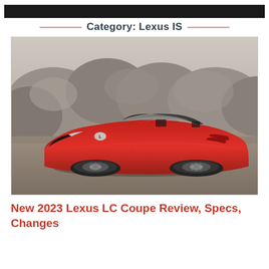Category: Lexus IS
[Figure (photo): Red Lexus LC Coupe convertible photographed outdoors in front of a rocky backdrop on a sandy/pebbly surface. The car is shown from a front three-quarter angle, top-down, vibrant red color.]
New 2023 Lexus LC Coupe Review, Specs, Changes